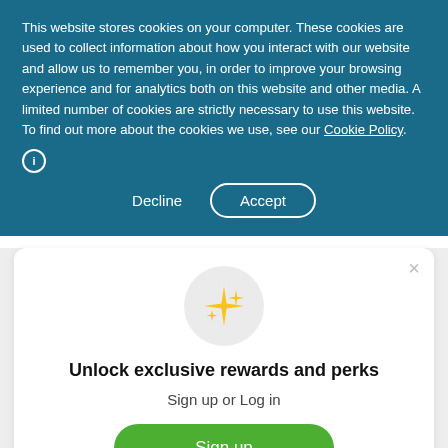This website stores cookies on your computer. These cookies are used to collect information about how you interact with our website and allow us to remember you, in order to improve your browsing experience and for analytics both on this website and other media. A limited number of cookies are strictly necessary to use this website. To find out more about the cookies we use, see our Cookie Policy.
[Figure (screenshot): Cookie consent banner with Decline and Accept buttons on a teal/dark blue background, followed by a modal popup with sparkle icon saying 'Unlock exclusive rewards and perks', Sign up or Log in text, a green Sign up button, and 'Already have an account? Sign in' link. Bottom navigation bar shows 'This Product' and 'Ingredients' tabs.]